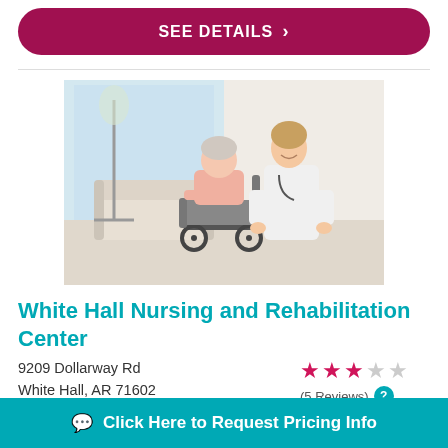SEE DETAILS >
[Figure (photo): A nurse in a white coat stands behind an elderly woman seated in a wheelchair in a bright, modern room.]
White Hall Nursing and Rehabilitation Center
9209 Dollarway Rd
White Hall, AR 71602
(5 Reviews)
1-855-XXX-XXXX
Click Here to Request Pricing Info